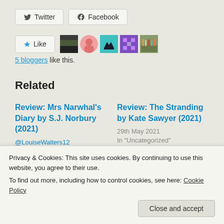[Figure (other): Twitter and Facebook share buttons]
[Figure (other): Like button with 5 blogger avatars]
5 bloggers like this.
Related
Review: Mrs Narwhal's Diary by S.J. Norbury (2021)
@LouiseWalters12
Review: The Stranding by Kate Sawyer (2021)
29th May 2021
In "Uncategorized"
Privacy & Cookies: This site uses cookies. By continuing to use this website, you agree to their use.
To find out more, including how to control cookies, see here: Cookie Policy
Close and accept
In "Uncategorized"